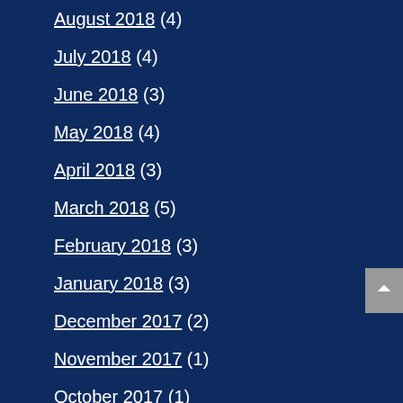August 2018 (4)
July 2018 (4)
June 2018 (3)
May 2018 (4)
April 2018 (3)
March 2018 (5)
February 2018 (3)
January 2018 (3)
December 2017 (2)
November 2017 (1)
October 2017 (1)
September 2017 (1)
August 2017 (2)
July 2017 (1)
June 2017 (2)